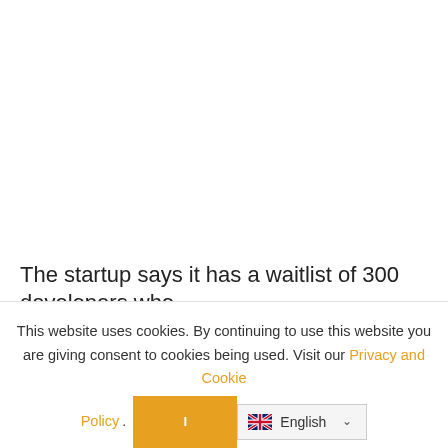The startup says it has a waitlist of 300 developers who
This website uses cookies. By continuing to use this website you are giving consent to cookies being used. Visit our Privacy and Cookie Policy .
[Figure (screenshot): Orange accept/confirm button and English language selector with UK flag and dropdown chevron]